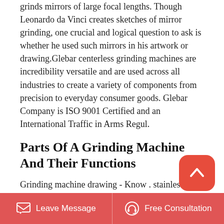grinds mirrors of large focal lengths. Though Leonardo da Vinci creates sketches of mirror grinding, one crucial and logical question to ask is whether he used such mirrors in his artwork or drawing.Glebar centerless grinding machines are incredibility versatile and are used across all industries to create a variety of components from precision to everyday consumer goods. Glebar Company is ISO 9001 Certified and an International Traffic in Arms Regul.
Parts Of A Grinding Machine And Their Functions
Grinding machine drawing - Know . stainless steel sink polishing machine,grinding machine,drawing machine,welding machine,metals polishing machine Total
Leave Message   Free Consultation